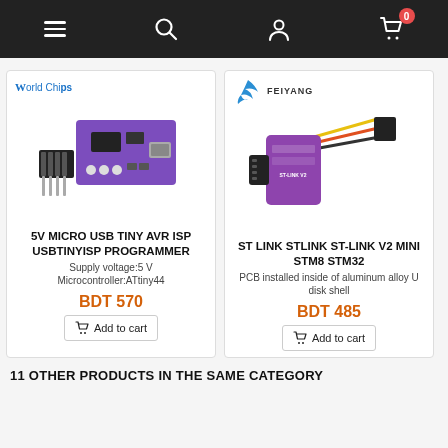Navigation bar with menu, search, account, cart (0 items)
[Figure (photo): WorldChips branded purple ATtiny44 5V Micro USB Tiny AVR ISP USBTinyISP Programmer PCB with header pins]
5V MICRO USB TINY AVR ISP USBTINYISP PROGRAMMER
Supply voltage:5 V
Microcontroller:ATtiny44
BDT 570
Add to cart
[Figure (photo): FEIYANG branded purple ST-Link V2 Mini STM8 STM32 programmer/debugger with multicolored cable]
ST LINK STLINK ST-LINK V2 MINI STM8 STM32
PCB installed inside of aluminum alloy U disk shell
BDT 485
Add to cart
11 OTHER PRODUCTS IN THE SAME CATEGORY